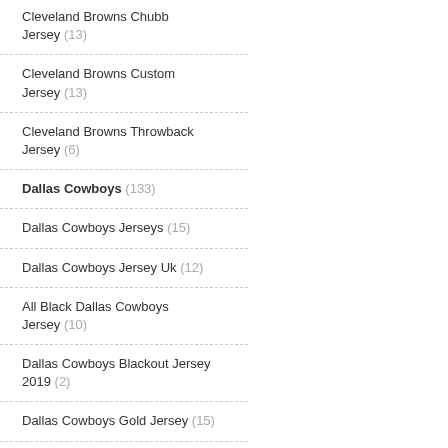Cleveland Browns Chubb Jersey (13)
Cleveland Browns Custom Jersey (13)
Cleveland Browns Throwback Jersey (6)
Dallas Cowboys (133)
Dallas Cowboys Jerseys (15)
Dallas Cowboys Jersey Uk (12)
All Black Dallas Cowboys Jersey (10)
Dallas Cowboys Blackout Jersey 2019 (2)
Dallas Cowboys Gold Jersey (15)
Long Sleeve Dallas Cowboys Jersey (18)
Womens Pink Dallas Cowboys Jersey (17)
Dallas Cowboys Jersey Aliexpress (5)